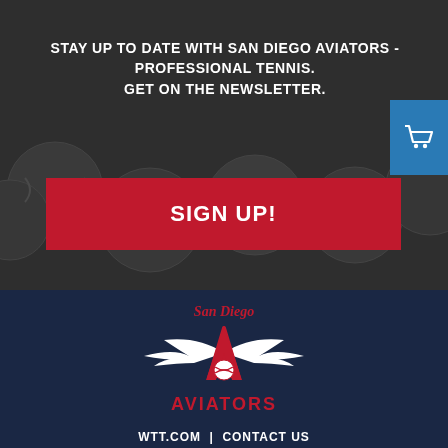STAY UP TO DATE WITH SAN DIEGO AVIATORS - PROFESSIONAL TENNIS. GET ON THE NEWSLETTER.
SIGN UP!
[Figure (logo): San Diego Aviators logo with winged letter A and tennis ball, text 'AVIATORS' below]
WTT.COM | CONTACT US